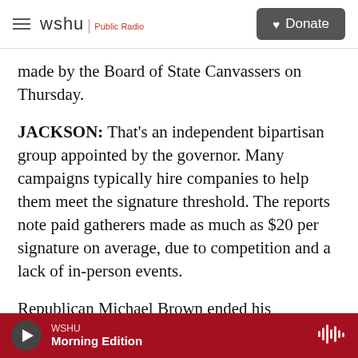wshu | Public Radio — Donate
made by the Board of State Canvassers on Thursday.
JACKSON: That's an independent bipartisan group appointed by the governor. Many campaigns typically hire companies to help them meet the signature threshold. The reports note paid gatherers made as much as $20 per signature on average, due to competition and a lack of in-person events.
Republican Michael Brown ended his campaign after news of possible fraud broke.
WSHU Morning Edition